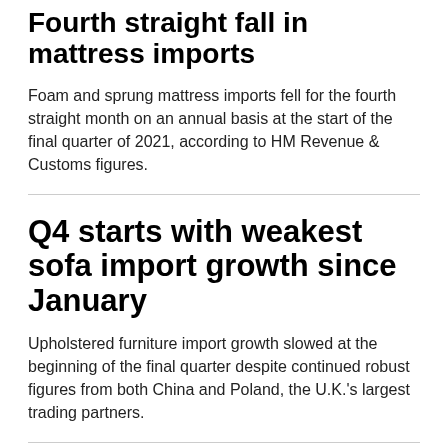Fourth straight fall in mattress imports
Foam and sprung mattress imports fell for the fourth straight month on an annual basis at the start of the final quarter of 2021, according to HM Revenue & Customs figures.
Q4 starts with weakest sofa import growth since January
Upholstered furniture import growth slowed at the beginning of the final quarter despite continued robust figures from both China and Poland, the U.K.'s largest trading partners.
Flooring giant's new